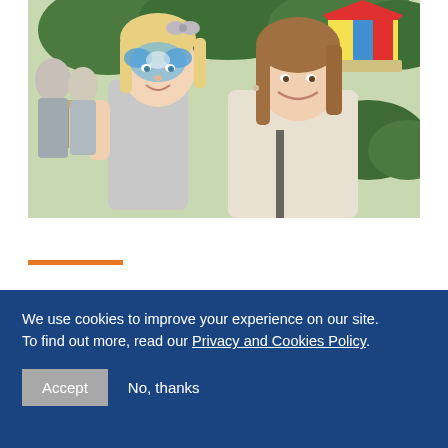[Figure (photo): A young girl with face paint (blue butterfly/crown design) wearing a grey top being held by a smiling woman with brown hair in a light beige top. Background shows an outdoor event with trees, tables, and a colourful carousel/tent.]
We use cookies to improve your experience on our site. To find out more, read our Privacy and Cookies Policy.
Accept   No, thanks